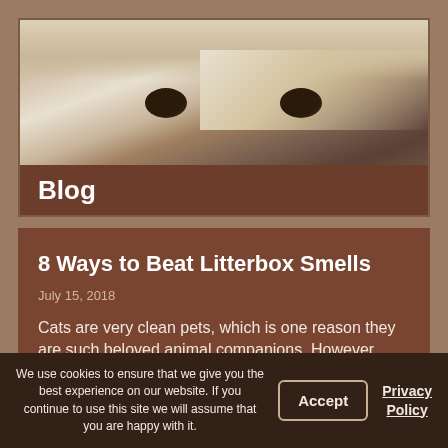[Figure (photo): Close-up photo of a dog's eyes and forehead, golden/yellow fur, blurred/bokeh style background]
Blog
8 Ways to Beat Litterbox Smells
July 15, 2018
Cats are very clean pets, which is one reason they are such beloved animal companions. However, although
We use cookies to ensure that we give you the best experience on our website. If you continue to use this site we will assume that you are happy with it.
Accept
Privacy Policy